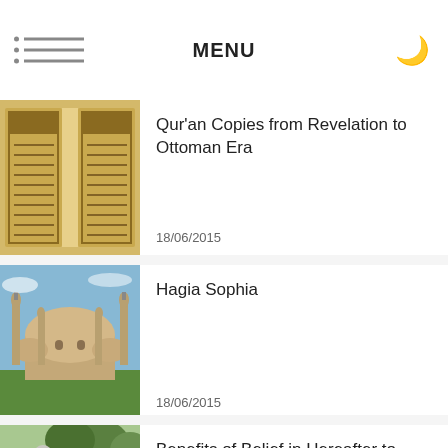MENU
[Figure (photo): Illuminated Qur'an manuscript pages with Arabic calligraphy on golden background]
Qur'an Copies from Revelation to Ottoman Era
18/06/2015
[Figure (photo): Aerial view of Hagia Sophia mosque with minarets and dome against blue sky]
Hagia Sophia
18/06/2015
[Figure (photo): Cemetery gravestones with red roses in foreground and green trees in background]
Benefits of Belief in Hereafter to Four Group of People